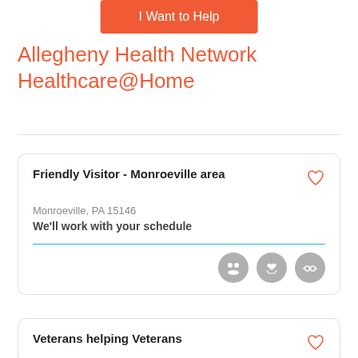[Figure (other): Orange 'I Want to Help' button]
Allegheny Health Network Healthcare@Home
Friendly Visitor - Monroeville area
Monroeville, PA 15146
We'll work with your schedule
[Figure (other): Three gray icon circles: group/people, hand/gesture, glasses/face]
Veterans helping Veterans